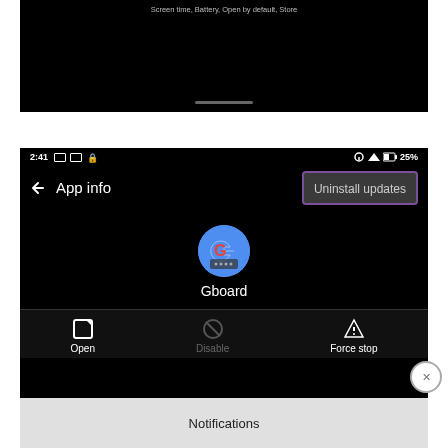[Figure (screenshot): Top portion of an Android screen (dark/black background) showing partial text 'Screen time, Battery, Open by default, Store' with a white home indicator bar at bottom]
[Figure (screenshot): Android App info screen for Gboard at 2:41, showing status bar, back arrow, 'App info' title, highlighted 'Uninstall updates' dropdown menu with purple border, Gboard icon, Open/Disable/Force stop buttons, and partially visible Notifications section]